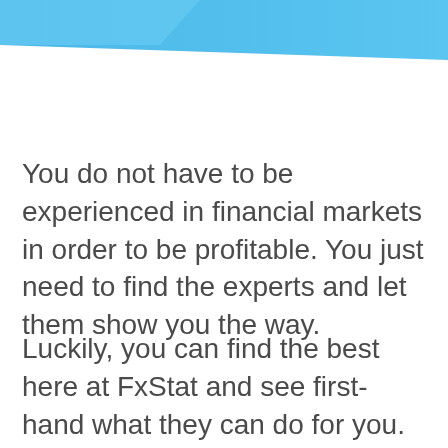[Figure (illustration): Blue diagonal banner/header graphic at the top of the page with light blue color and angled design]
You do not have to be experienced in financial markets in order to be profitable. You just need to find the experts and let them show you the way.
Luckily, you can find the best here at FxStat and see first-hand what they can do for you.